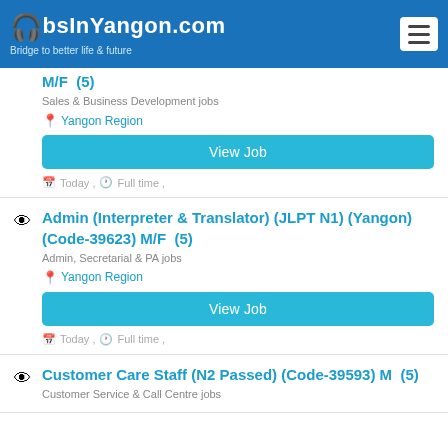JobsInYangon.com — Bridge to better life & future
M/F (5)
Sales & Business Development jobs
Yangon Region
View Job
Today , Full time ,
Admin (Interpreter & Translator) (JLPT N1) (Yangon) (Code-39623) M/F (5)
Admin, Secretarial & PA jobs
Yangon Region
View Job
Today , Full time ,
Customer Care Staff (N2 Passed) (Code-39593) M (5)
Customer Service & Call Centre jobs